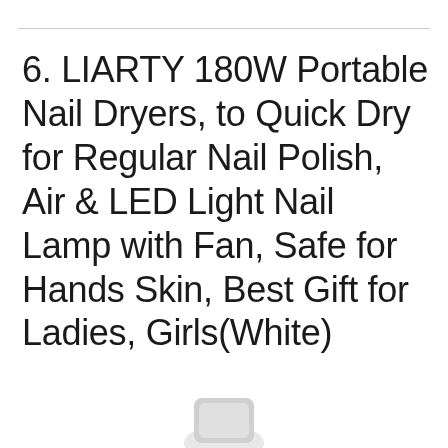6. LIARTY 180W Portable Nail Dryers, to Quick Dry for Regular Nail Polish, Air & LED Light Nail Lamp with Fan, Safe for Hands Skin, Best Gift for Ladies, Girls(White)
[Figure (photo): Partial view of a white nail dryer product at the bottom of the page]